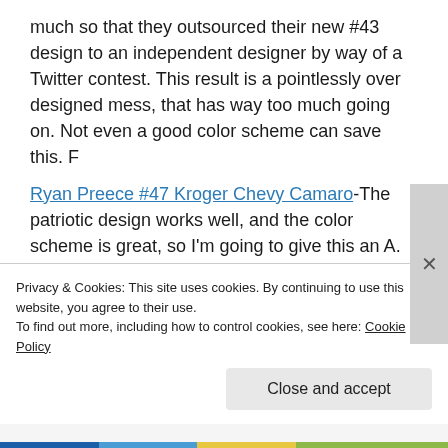much so that they outsourced their new #43 design to an independent designer by way of a Twitter contest. This result is a pointlessly over designed mess, that has way too much going on. Not even a good color scheme can save this. F
Ryan Preece #47 Kroger Chevy Camaro-The patriotic design works well, and the color scheme is great, so I'm going to give this an A.
Matt DiBenedetto #95 Dumont Jets Toyota
Privacy & Cookies: This site uses cookies. By continuing to use this website, you agree to their use.
To find out more, including how to control cookies, see here: Cookie Policy